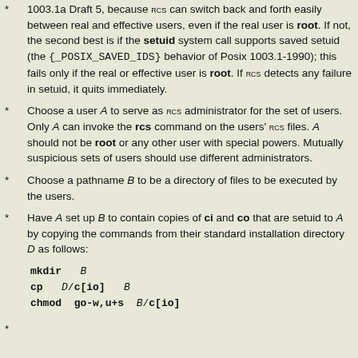1003.1a Draft 5, because RCS can switch back and forth easily between real and effective users, even if the real user is root. If not, the second best is if the setuid system call supports saved setuid (the {_POSIX_SAVED_IDS} behavior of Posix 1003.1-1990); this fails only if the real or effective user is root. If RCS detects any failure in setuid, it quits immediately.
Choose a user A to serve as RCS administrator for the set of users. Only A can invoke the rcs command on the users' RCS files. A should not be root or any other user with special powers. Mutually suspicious sets of users should use different administrators.
Choose a pathname B to be a directory of files to be executed by the users.
Have A set up B to contain copies of ci and co that are setuid to A by copying the commands from their standard installation directory D as follows:
mkdir B
cp D/c[io] B
chmod go-w,u+s B/c[io]
*